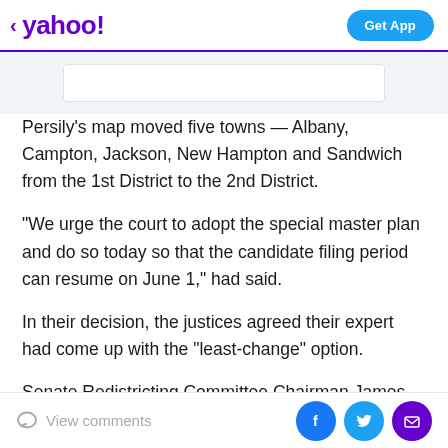< yahoo! | Get App
[Figure (screenshot): Yahoo search bar area with light blue-grey background]
Persily's map moved five towns — Albany, Campton, Jackson, New Hampton and Sandwich from the 1st District to the 2nd District.
"We urge the court to adopt the special master plan and do so today so that the candidate filing period can resume on June 1," had said.
In their decision, the justices agreed their expert had come up with the "least-change" option.
Senate Redistricting Committee Chairman James Gray,
View comments | Facebook | Twitter | Email